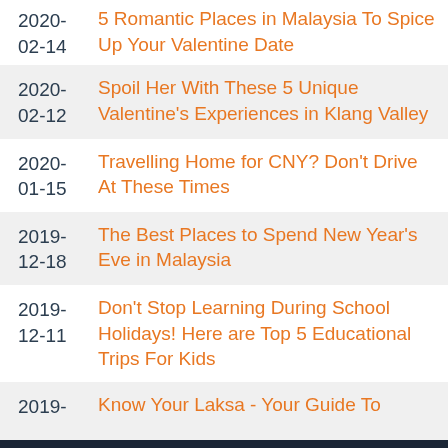2020-02-14 | 5 Romantic Places in Malaysia To Spice Up Your Valentine Date
2020-02-12 | Spoil Her With These 5 Unique Valentine's Experiences in Klang Valley
2020-01-15 | Travelling Home for CNY? Don't Drive At These Times
2019-12-18 | The Best Places to Spend New Year's Eve in Malaysia
2019-12-11 | Don't Stop Learning During School Holidays! Here are Top 5 Educational Trips For Kids
2019- | Know Your Laksa - Your Guide To